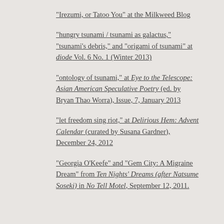"Irezumi, or Tatoo You" at the Milkweed Blog
"hungry tsunami / tsunami as galactus," "tsunami's debris," and "origami of tsunami" at diode Vol. 6 No. 1 (Winter 2013)
"ontology of tsunami," at Eye to the Telescope: Asian American Speculative Poetry (ed. by Bryan Thao Worra), Issue, 7, January 2013
"let freedom sing riot," at Delirious Hem: Advent Calendar (curated by Susana Gardner), December 24, 2012
"Georgia O'Keefe" and "Gem City: A Migraine Dream" from Ten Nights' Dreams (after Natsume Soseki) in No Tell Motel, September 12, 2011.